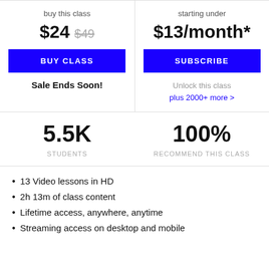buy this class
$24  $49
BUY CLASS
Sale Ends Soon!
starting under
$13/month*
SUBSCRIBE
Unlock this class plus 2000+ more >
5.5K
STUDENTS
100%
RECOMMEND THIS CLASS
13 Video lessons in HD
2h 13m of class content
Lifetime access, anywhere, anytime
Streaming access on desktop and mobile